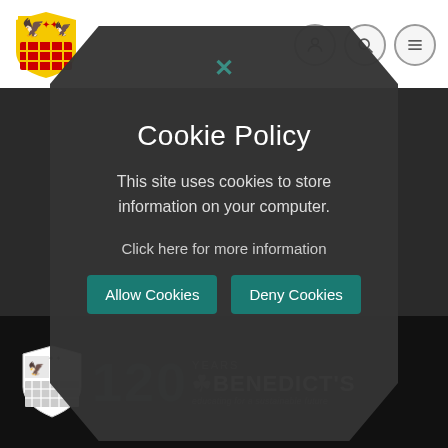[Figure (logo): School crest/shield logo top left in header]
[Figure (screenshot): Cookie policy modal overlay with dark hexagonal background, close X button, title, body text, link, and two teal buttons]
Cookie Policy
This site uses cookies to store information on your computer.
Click here for more information
Allow Cookies
Deny Cookies
[Figure (logo): St Benedict's school shield logo and branding in footer: 120 YEARS BENEDICT'S educating for a sustainable future]